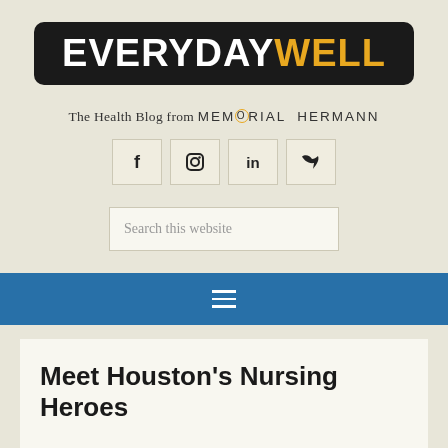[Figure (logo): EverydayWell logo — dark rounded rectangle with 'EVERYDAY' in white bold and 'WELL' in gold/amber bold]
The Health Blog from MEMORIAL HERMANN
[Figure (infographic): Row of four social media icon buttons: Facebook (f), Instagram, LinkedIn (in), Twitter (bird)]
Search this website
[Figure (infographic): Blue navigation bar with hamburger menu icon (three horizontal lines)]
Meet Houston's Nursing Heroes